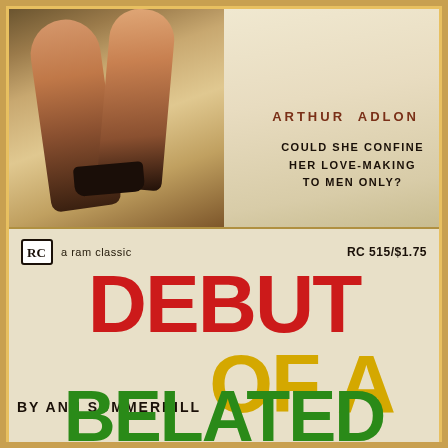[Figure (illustration): Vintage paperback book cover showing illustrated legs of a woman in a dress, pulp fiction style painting]
ARTHUR ADLON
COULD SHE CONFINE HER LOVE-MAKING TO MEN ONLY?
[Figure (illustration): Bottom portion of a vintage paperback cover showing publisher logo, catalog number, price, and large colorful title text]
a ram classic
RC 515/$1.75
DEBUT OF A BELATED
BY ANN SUMMERHILL